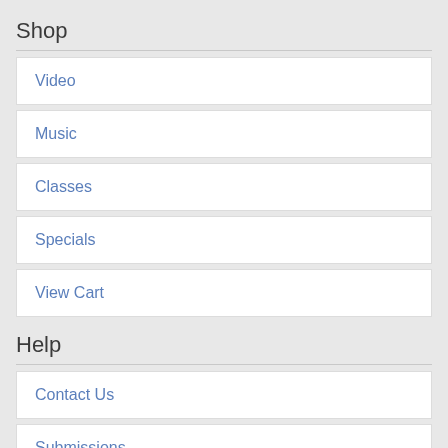Shop
Video
Music
Classes
Specials
View Cart
Help
Contact Us
Submissions